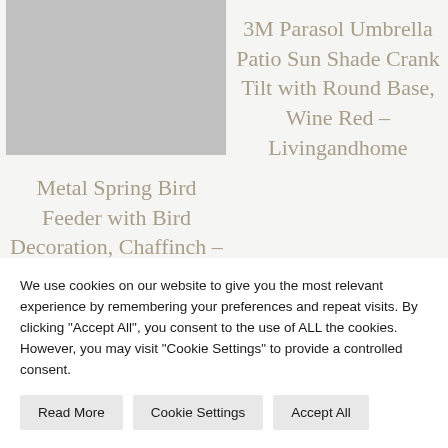[Figure (photo): Grey placeholder image for a product photo (Metal Spring Bird Feeder)]
Metal Spring Bird Feeder with Bird Decoration, Chaffinch – Green – Green – Homescapes
3M Parasol Umbrella Patio Sun Shade Crank Tilt with Round Base, Wine Red – Livingandhome
We use cookies on our website to give you the most relevant experience by remembering your preferences and repeat visits. By clicking "Accept All", you consent to the use of ALL the cookies. However, you may visit "Cookie Settings" to provide a controlled consent.
Read More
Cookie Settings
Accept All